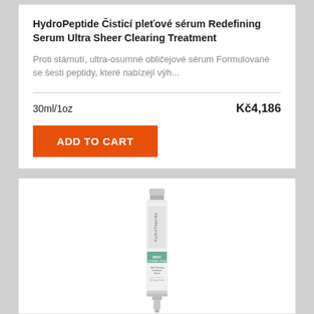HydroPeptide Čisticí pleťové sérum Redefining Serum Ultra Sheer Clearing Treatment
Proti stárnutí, ultra-osumné obličejové sérum Formulované se šesti peptidy, které nabízejí výh...
30ml/1oz
Kč4,186
ADD TO CART
[Figure (photo): A white cosmetic tube product with green accent label reading SPOT CORRECTION, Skin Clearing Treatment, HydroPeptide branding]